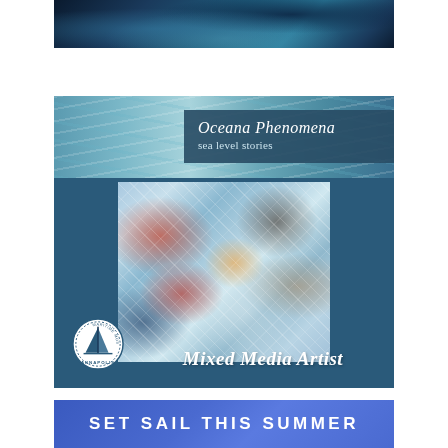[Figure (photo): Abstract dark blue ocean/fluid art image at the top of the page]
[Figure (illustration): Exhibition card for 'Oceana Phenomena: sea level stories' featuring a mixed media painting with ocean waves in blue, red, and orange tones, and Maritime Museum of Annapolis logo. Text reads 'Mixed Media Artist'.]
Oceana Phenomena sea level stories
Mixed Media Artist
SET SAIL THIS SUMMER